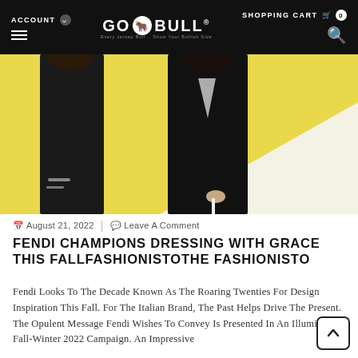ACCOUNT  SHOPPING CART 0  GO BULL
[Figure (photo): Two models wearing black tailored suits against a yellow background, in a Fendi Fall-Winter 2022 campaign photo]
August 21, 2022  |  Leave A Comment
FENDI CHAMPIONS DRESSING WITH GRACE THIS FALLFASHIONISTOTHE FASHIONISTO
Fendi Looks To The Decade Known As The Roaring Twenties For Design Inspiration This Fall. For The Italian Brand, The Past Helps Drive The Present. The Opulent Message Fendi Wishes To Convey Is Presented In An Illuminating Fall-Winter 2022 Campaign. An Impressive